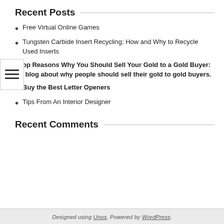Recent Posts
Free Virtual Online Games
Tungsten Carbide Insert Recycling: How and Why to Recycle Used Inserts
Top Reasons Why You Should Sell Your Gold to a Gold Buyer: A blog about why people should sell their gold to gold buyers.
Buy the Best Letter Openers
Tips From An Interior Designer
Recent Comments
Designed using Unos. Powered by WordPress.